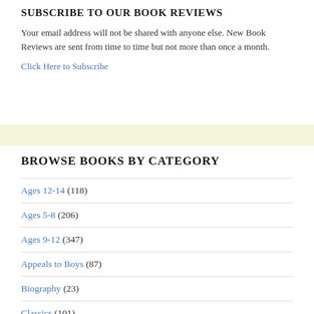SUBSCRIBE TO OUR BOOK REVIEWS
Your email address will not be shared with anyone else. New Book Reviews are sent from time to time but not more than once a month.
Click Here to Subscribe
BROWSE BOOKS BY CATEGORY
Ages 12-14 (118)
Ages 5-8 (206)
Ages 9-12 (347)
Appeals to Boys (87)
Biography (23)
Classics (101)